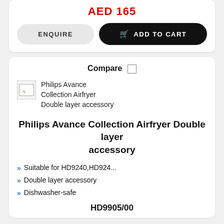AED 165
ENQUIRE
ADD TO CART
Compare
[Figure (photo): Broken/unloaded product image thumbnail for Philips Avance Collection Airfryer Double layer accessory]
Philips Avance Collection Airfryer Double layer accessory
Philips Avance Collection Airfryer Double layer accessory
Suitable for HD9240,HD924...
Double layer accessory
Dishwasher-safe
HD9905/00